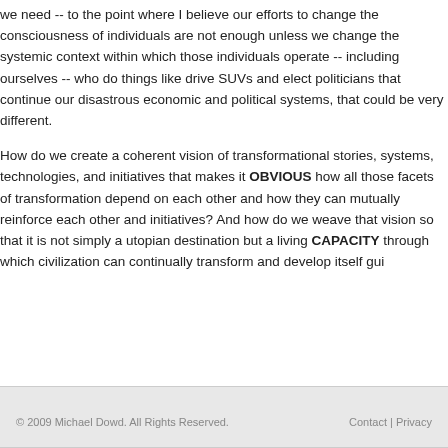we need -- to the point where I believe our efforts to change the consciousness of individuals are not enough unless we change the systemic context within which those individuals operate -- including ourselves -- who do things like drive SUVs and elect politicians that continue our disastrous economic and political systems, that could be very different.
How do we create a coherent vision of transformational stories, systems, technologies, and initiatives that makes it OBVIOUS how all those facets of transformation depend on each other and how they can mutually reinforce each other and initiatives?  And how do we weave that vision so that it is not simply a utopian destination but a living CAPACITY through which civilization can continually transform and develop itself guided by wisdom?
© 2009 Michael Dowd. All Rights Reserved.    Contact | Privacy